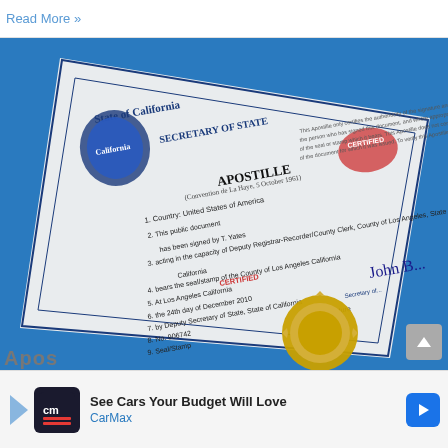Read More »
[Figure (photo): Photograph of a California Secretary of State Apostille certificate (Convention de La Haye, 5 October 1961) placed at an angle on a blue background. The document shows numbered fields: 1. Country: United States of America, 2. This public document has been signed by T. Yates, 3. acting in the capacity of Deputy Registrar-Recorder/County Clerk, County of Los Angeles, State of California, 4. bears the seal/stamp of the County of Los Angeles California, CERTIFIED, 5. At Los Angeles California, 6. the 24th day of December 2010, 7. by Deputy Secretary of State, State of California, 8. No. 906742, 9. Seal/Stamp, 10. Signature. The document also has a gold embossed seal in the lower right area, a red stamp in the upper right, California state seal/logo in the upper left, and a signature on the right side.]
Apos
[Figure (screenshot): CarMax advertisement banner: 'See Cars Your Budget Will Love' with CarMax logo and blue arrow button]